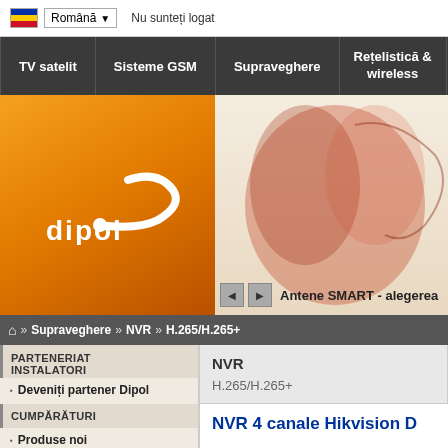Română  Nu sunteți logat
TV satelit  Sisteme GSM  Supraveghere  Rețelistică & wireless
[Figure (logo): Dipol logo on orange gradient background with decorative banner image on right]
Antene SMART - alegerea
» Supraveghere » NVR » H.265/H.265+
PARTENERIAT INSTALATORI
Deveniți partener Dipol
CUMPĂRĂTURI
Produse noi
Oferte speciale
NVR
H.265/H.265+
NVR 4 canale Hikvision D